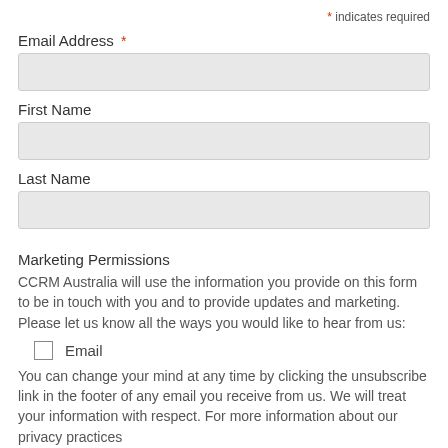* indicates required
Email Address *
[Figure (other): Empty text input field for Email Address]
First Name
[Figure (other): Empty text input field for First Name]
Last Name
[Figure (other): Empty text input field for Last Name]
Marketing Permissions
CCRM Australia will use the information you provide on this form to be in touch with you and to provide updates and marketing. Please let us know all the ways you would like to hear from us:
Email
You can change your mind at any time by clicking the unsubscribe link in the footer of any email you receive from us. We will treat your information with respect. For more information about our privacy practices